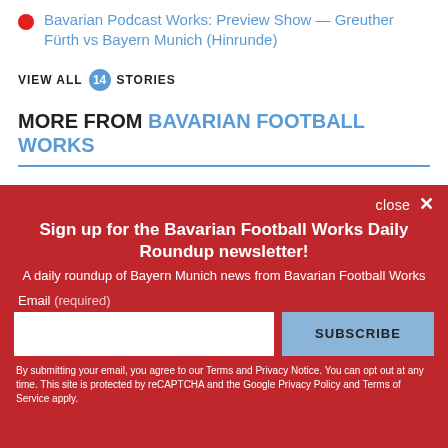Bavarian Podcast Works: Preview Show — Greuther Fürth vs Bayern Munich (Hinrunde)
VIEW ALL 14 STORIES
MORE FROM BAVARIAN FOOTBALL WORKS
close ✕
Sign up for the Bavarian Football Works Daily Roundup newsletter!
A daily roundup of Bayern Munich news from Bavarian Football Works
Email (required)
By submitting your email, you agree to our Terms and Privacy Notice. You can opt out at any time. This site is protected by reCAPTCHA and the Google Privacy Policy and Terms of Service apply.